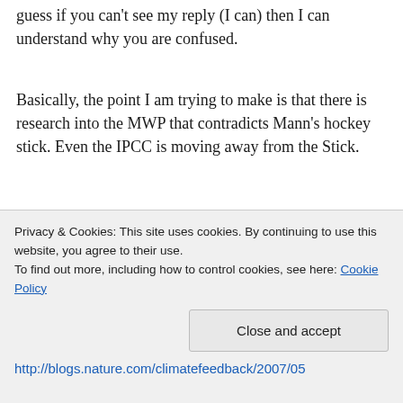guess if you can't see my reply (I can) then I can understand why you are confused.
Basically, the point I am trying to make is that there is research into the MWP that contradicts Mann's hockey stick. Even the IPCC is moving away from the Stick.
“The National Academy of Science Report from 2006 – all of which have helped to clarify that the hockey-stick methodologies lead indeed to questionable historical reconstructions. The 4th
Privacy & Cookies: This site uses cookies. By continuing to use this website, you agree to their use.
To find out more, including how to control cookies, see here: Cookie Policy
[Close and accept]
http://blogs.nature.com/climatefeedback/2007/05